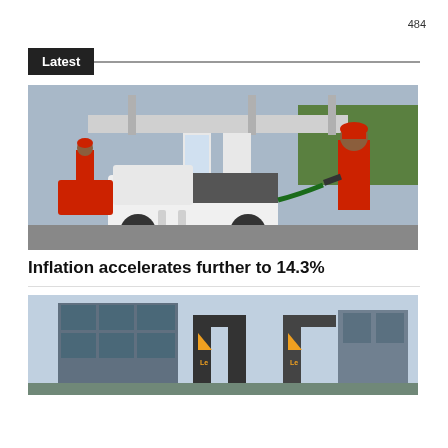484
Latest
[Figure (photo): A petrol/fuel station with workers in red uniforms. A man in red uniform and cap is fueling a white pickup truck. Several fuel pumps and canopy visible in background.]
Inflation accelerates further to 14.3%
[Figure (photo): A commercial building with a triangular logo (appears to be a telecom or finance company). The building has a glass facade and signage visible.]